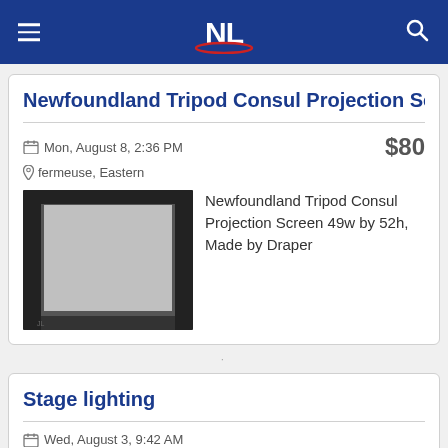NL
Newfoundland Tripod Consul Projection Screen 4
Mon, August 8, 2:36 PM
$80
fermeuse, Eastern
[Figure (photo): Photo of a projection screen, white screen surface with dark border, tripod base visible]
Newfoundland Tripod Consul Projection Screen 49w by 52h, Made by Draper
Stage lighting
Wed, August 3, 9:42 AM
stjohns, Avalon Peninsula
[Figure (photo): Photo of stage lighting equipment]
Stage lighting Lots of it